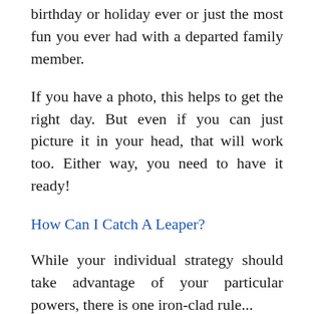birthday or holiday ever or just the most fun you ever had with a departed family member.
If you have a photo, this helps to get the right day. But even if you can just picture it in your head, that will work too. Either way, you need to have it ready!
How Can I Catch A Leaper?
While your individual strategy should take advantage of your particular powers, there is one iron-clad rule...